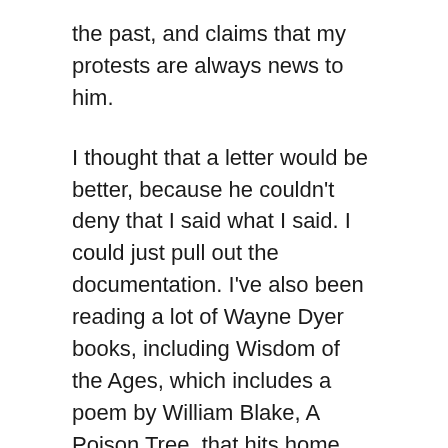the past, and claims that my protests are always news to him.
I thought that a letter would be better, because he couldn't deny that I said what I said. I could just pull out the documentation. I've also been reading a lot of Wayne Dyer books, including Wisdom of the Ages, which includes a poem by William Blake, A Poison Tree, that hits home the message that holding onto anger will fester to a deadly end, while open communication will quickly resolve it. Lou was away, so I stayed up most of the night writing an e-mail to him about how I was feeling. I directly asked him to either stop his relationship with Tanya, or to just go with it and I would release him in good spirit without any fight or animosity. I